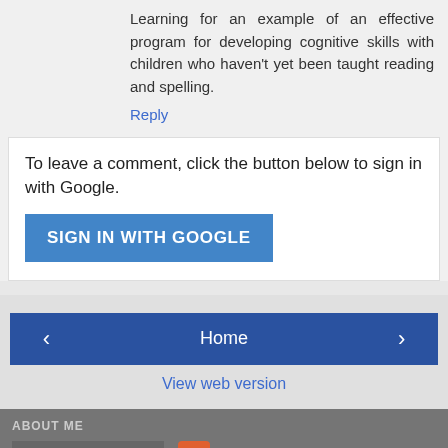Learning for an example of an effective program for developing cognitive skills with children who haven't yet been taught reading and spelling.
Reply
To leave a comment, click the button below to sign in with Google.
SIGN IN WITH GOOGLE
Home
View web version
ABOUT ME
[Figure (photo): Black and white profile photo]
KDeRosa
View my complete profile